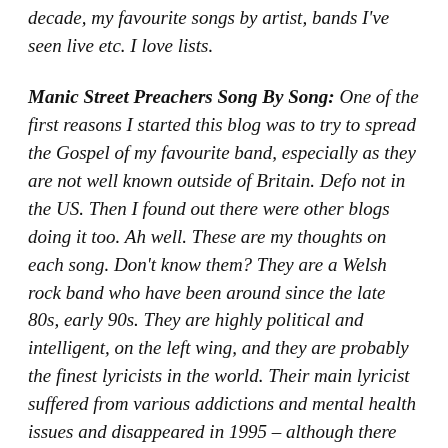decade, my favourite songs by artist, bands I've seen live etc. I love lists.
Manic Street Preachers Song By Song: One of the first reasons I started this blog was to try to spread the Gospel of my favourite band, especially as they are not well known outside of Britain. Defo not in the US. Then I found out there were other blogs doing it too. Ah well. These are my thoughts on each song. Don't know them? They are a Welsh rock band who have been around since the late 80s, early 90s. They are highly political and intelligent, on the left wing, and they are probably the finest lyricists in the world. Their main lyricist suffered from various addictions and mental health issues and disappeared in 1995 – although there have been sightings, nobody has ever confirmed they have seen him and no body has ever been found, though the band, fans, and family are still looking.